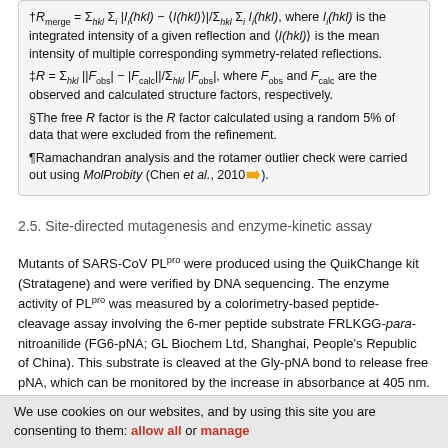†R_merge = Σ_hkl Σ_i |I_i(hkl) − ⟨I(hkl)⟩|/Σ_hkl Σ_i I_i(hkl), where I_i(hkl) is the integrated intensity of a given reflection and ⟨I(hkl)⟩ is the mean intensity of multiple corresponding symmetry-related reflections. ‡R = Σ_hkl ||F_obs| − |F_calc||/Σ_hkl |F_obs|, where F_obs and F_calc are the observed and calculated structure factors, respectively. §The free R factor is the R factor calculated using a random 5% of data that were excluded from the refinement. ¶Ramachandran analysis and the rotamer outlier check were carried out using MolProbity (Chen et al., 2010).
2.5. Site-directed mutagenesis and enzyme-kinetic assay
Mutants of SARS-CoV PLpro were produced using the QuikChange kit (Stratagene) and were verified by DNA sequencing. The enzyme activity of PLpro was measured by a colorimetry-based peptide-cleavage assay involving the 6-mer peptide substrate FRLKGG-para-nitroanilide (FG6-pNA; GL Biochem Ltd, Shanghai, People's Republic of China). This substrate is cleaved at the Gly-pNA bond to release free pNA, which can be monitored by the increase in absorbance at 405 nm. The amount of pNA released by proteolysis can be calculated using a standard curve generated with analytical grade pNA. The protease-activity assay was performed in 50 mM phosphate pH 7.4 at 30°C. The substrate stock solution was made up at 6 mM and the working concentrations were from
We use cookies on our websites, and by using this site you are consenting to them: allow all or manage